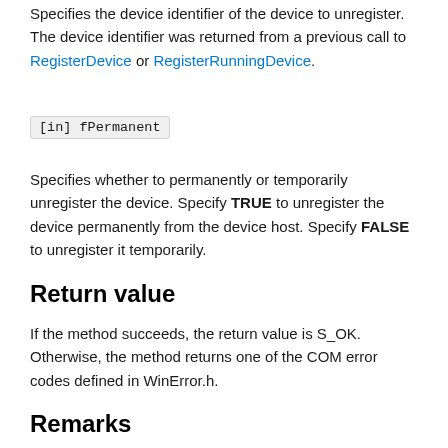Specifies the device identifier of the device to unregister. The device identifier was returned from a previous call to RegisterDevice or RegisterRunningDevice.
[in] fPermanent
Specifies whether to permanently or temporarily unregister the device. Specify TRUE to unregister the device permanently from the device host. Specify FALSE to unregister it temporarily.
Return value
If the method succeeds, the return value is S_OK. Otherwise, the method returns one of the COM error codes defined in WinError.h.
Remarks